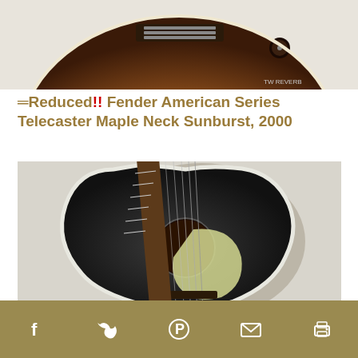[Figure (photo): Close-up of a sunburst electric guitar (Fender Telecaster), partially cropped at top of page, showing body and hardware]
=Reduced!! Fender American Series Telecaster Maple Neck Sunburst, 2000
[Figure (photo): Martin 000-17 Black Smoke acoustic guitar, showing body with black finish, cream pickguard, natural soundhole, and neck with fretboard]
Martin 000-17 Black Smoke Guitar
[Figure (photo): Partial view of another acoustic guitar at bottom of page, cropped]
Facebook  Twitter  Pinterest  Email  Print